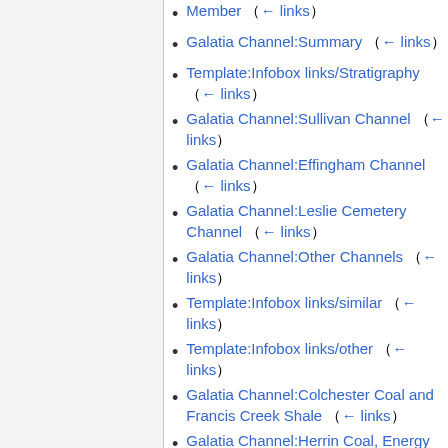Member (← links)
Galatia Channel:Summary (← links)
Template:Infobox links/Stratigraphy (← links)
Galatia Channel:Sullivan Channel (← links)
Galatia Channel:Effingham Channel (← links)
Galatia Channel:Leslie Cemetery Channel (← links)
Galatia Channel:Other Channels (← links)
Template:Infobox links/similar (← links)
Template:Infobox links/other (← links)
Galatia Channel:Colchester Coal and Francis Creek Shale (← links)
Galatia Channel:Herrin Coal, Energy Shale, and Walshville Channel (← links)